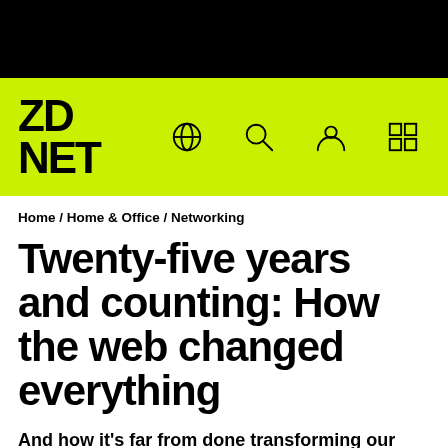[Figure (logo): ZDNet logo on lime green navigation bar with globe, search, user, and grid icons]
Home / Home & Office / Networking
Twenty-five years and counting: How the web changed everything
And how it's far from done transforming our world.